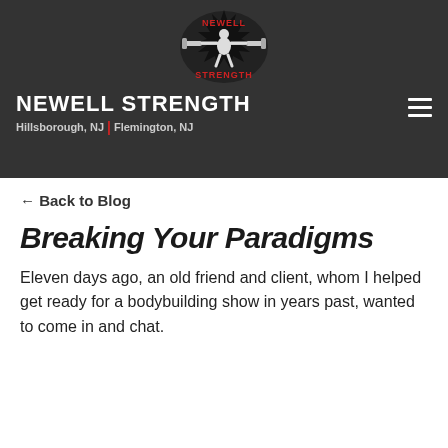[Figure (logo): Newell Strength logo: weightlifter with barbell, red and white text on dark burst background]
NEWELL STRENGTH
Hillsborough, NJ | Flemington, NJ
← Back to Blog
Breaking Your Paradigms
Eleven days ago, an old friend and client, whom I helped get ready for a bodybuilding show in years past, wanted to come in and chat.